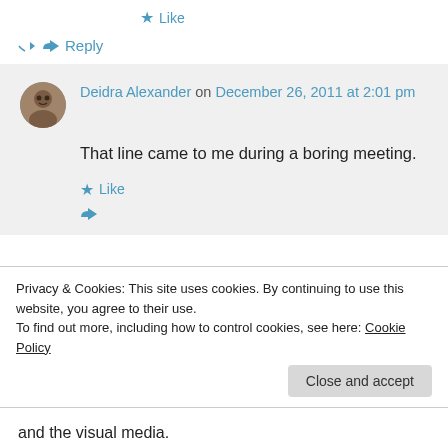★ Like
↪ Reply
Deidra Alexander on December 26, 2011 at 2:01 pm
That line came to me during a boring meeting.
★ Like
Privacy & Cookies: This site uses cookies. By continuing to use this website, you agree to their use.
To find out more, including how to control cookies, see here: Cookie Policy
Close and accept
and the visual media.